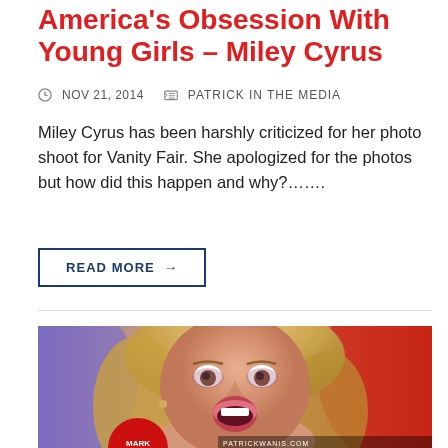America's Obsession With Young Girls – Miley Cyrus
NOV 21, 2014   PATRICK IN THE MEDIA
Miley Cyrus has been harshly criticized for her photo shoot for Vanity Fair. She apologized for the photos but how did this happen and why?…….
READ MORE →
[Figure (photo): A blonde woman with her mouth open in surprise, photographed in a television studio setting with blurred red and purple background. A partial red circular logo is visible at the bottom.]